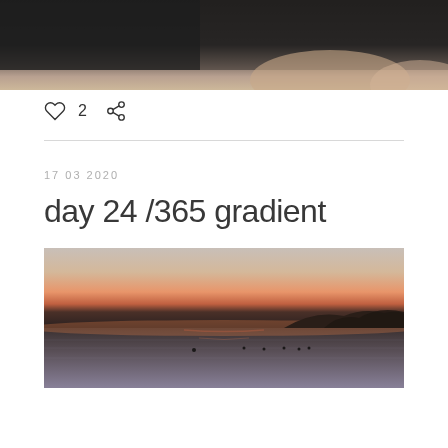[Figure (photo): Partial photo at top showing a person in dark clothing against a light background, cropped]
♡ 2   share
17 03 2020
day 24 /365 gradient
[Figure (photo): Sunset over a calm body of water with mountains silhouetted on the horizon and a gradient sky from orange-pink to pale gray]